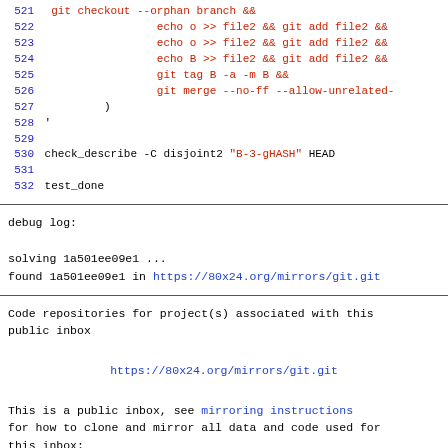521  git checkout --orphan branch &&
522                  echo o >> file2 && git add file2 &&
523                  echo o >> file2 && git add file2 &&
524                  echo B >> file2 && git add file2 &&
525                  git tag B -a -m B &&
526                  git merge --no-ff --allow-unrelated-
527          )
528 '
529
530 check_describe -C disjoint2 "B-3-gHASH" HEAD
531
532 test_done
debug log:

solving 1a501ee09e1 ...
found 1a501ee09e1 in https://80x24.org/mirrors/git.git
Code repositories for project(s) associated with this public inbox

https://80x24.org/mirrors/git.git

This is a public inbox, see mirroring instructions for how to clone and mirror all data and code used for this inbox;
as well as URLs for read-only IMAP folder(s) and NNTP newsgroup(s).